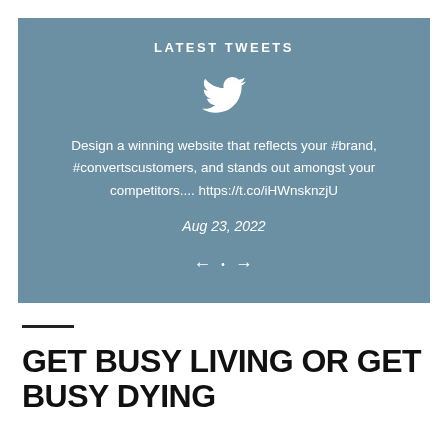LATEST TWEETS
[Figure (illustration): Twitter bird logo icon in white]
Design a winning website that reflects your #brand, #convertscustomers, and stands out amongst your competitors.... https://t.co/iHWnsknzjU
Aug 23, 2022
[Figure (other): Navigation arrows with a dot in the center: left arrow, dot, right arrow]
GET BUSY LIVING OR GET BUSY DYING